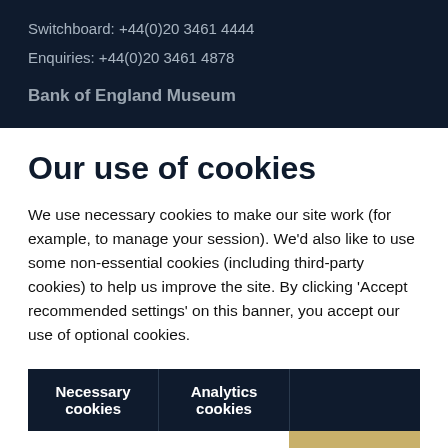Switchboard: +44(0)20 3461 4444
Enquiries: +44(0)20 3461 4878
Bank of England Museum
Our use of cookies
We use necessary cookies to make our site work (for example, to manage your session). We'd also like to use some non-essential cookies (including third-party cookies) to help us improve the site. By clicking 'Accept recommended settings' on this banner, you accept our use of optional cookies.
| Necessary cookies | Analytics cookies |  |
| --- | --- | --- |
|  |  | Accept |